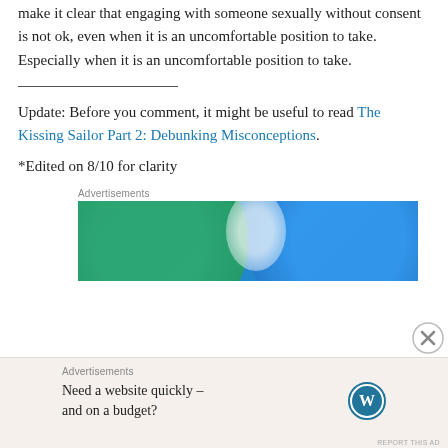make it clear that engaging with someone sexually without consent is not ok, even when it is an uncomfortable position to take. Especially when it is an uncomfortable position to take.
Update: Before you comment, it might be useful to read The Kissing Sailor Part 2: Debunking Misconceptions.
*Edited on 8/10 for clarity
[Figure (illustration): Advertisement banner showing overlapping green and blue circles with white overlap region on a blue background]
[Figure (illustration): Bottom advertisement bar: 'Need a website quickly – and on a budget?' with WordPress logo]